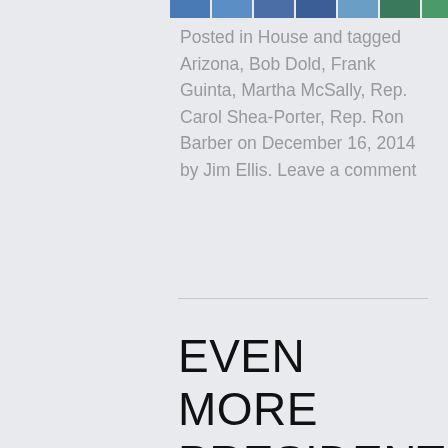[Figure (photo): Partial strip of political candidate photos at the top of the page]
Posted in House and tagged Arizona, Bob Dold, Frank Guinta, Martha McSally, Rep. Carol Shea-Porter, Rep. Ron Barber on December 16, 2014 by Jim Ellis. Leave a comment
EVEN MORE PRESIDENTIAL CANDIDATES EMERGE
Almost everyday now, a new individual is mentioned as someone considering a potential